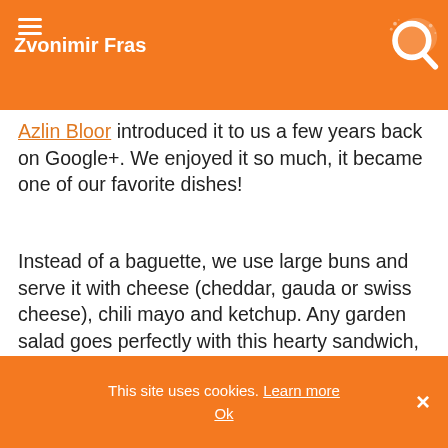Zvonimir Fras
Azlin Bloor introduced it to us a few years back on Google+. We enjoyed it so much, it became one of our favorite dishes!
Instead of a baguette, we use large buns and serve it with cheese (cheddar, gauda or swiss cheese), chili mayo and ketchup. Any garden salad goes perfectly with this hearty sandwich, but we tried it also with beans and onion salad and it was delicious. 😀
[Figure (photo): Close-up photo of a baked bun or bread roll with a toasted, golden-brown surface]
This site uses cookies. Learn more
Ok